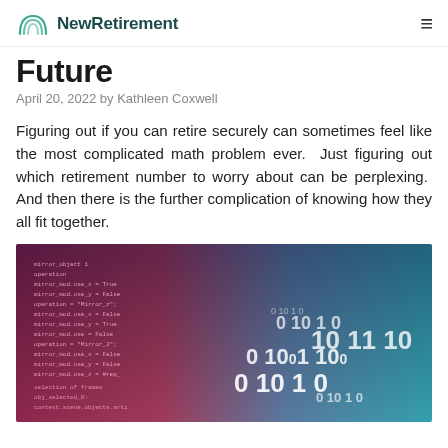NewRetirement
Future
April 20, 2022 by Kathleen Coxwell
Figuring out if you can retire securely can sometimes feel like the most complicated math problem ever.  Just figuring out which retirement number to worry about can be perplexing.  And then there is the further complication of knowing how they all fit together.
[Figure (photo): Abstract technology background showing code and binary numbers with pink, blue, and teal colors]